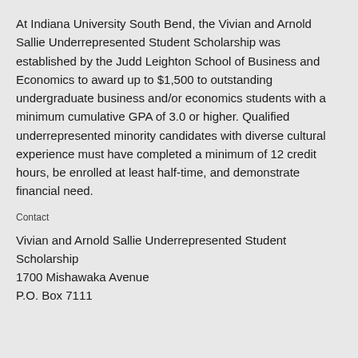At Indiana University South Bend, the Vivian and Arnold Sallie Underrepresented Student Scholarship was established by the Judd Leighton School of Business and Economics to award up to $1,500 to outstanding undergraduate business and/or economics students with a minimum cumulative GPA of 3.0 or higher. Qualified underrepresented minority candidates with diverse cultural experience must have completed a minimum of 12 credit hours, be enrolled at least half-time, and demonstrate financial need.
Contact
Vivian and Arnold Sallie Underrepresented Student Scholarship
1700 Mishawaka Avenue
P.O. Box 7111